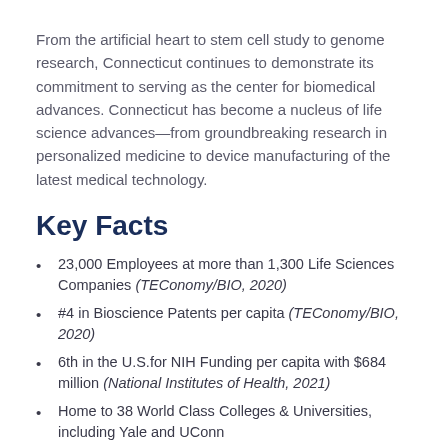From the artificial heart to stem cell study to genome research, Connecticut continues to demonstrate its commitment to serving as the center for biomedical advances. Connecticut has become a nucleus of life science advances—from groundbreaking research in personalized medicine to device manufacturing of the latest medical technology.
Key Facts
23,000 Employees at more than 1,300 Life Sciences Companies (TEConomy/BIO, 2020)
#4 in Bioscience Patents per capita (TEConomy/BIO, 2020)
6th in the U.S.for NIH Funding per capita with $684 million (National Institutes of Health, 2021)
Home to 38 World Class Colleges & Universities, including Yale and UConn